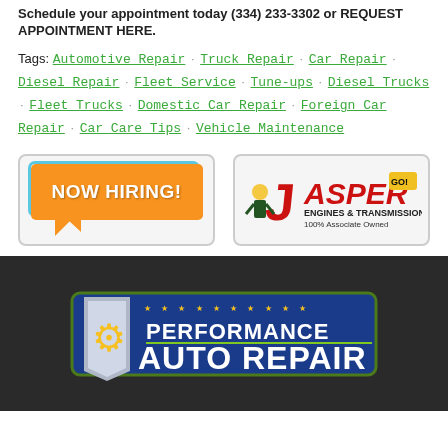Schedule your appointment today (334) 233-3302 or REQUEST APPOINTMENT HERE.
Tags: Automotive Repair · Truck Repair · Car Repair · Diesel Repair · Fleet Service · Tune-ups · Diesel Trucks · Fleet Trucks · Domestic Car Repair · Foreign Car Repair · Car Care Tips · Vehicle Maintenance
[Figure (logo): NOW HIRING! orange speech bubble banner with light blue border]
[Figure (logo): Jasper Engines & Transmissions 100% Associate Owned logo with red J and cartoon character]
[Figure (logo): Performance Auto Repair logo on dark background with shield and wrench icon]